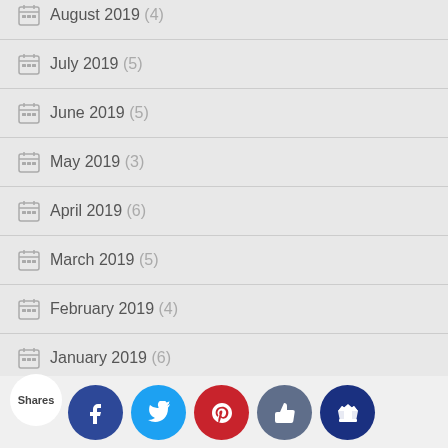August 2019 (4) [partial]
July 2019 (5)
June 2019 (5)
May 2019 (3)
April 2019 (6)
March 2019 (5)
February 2019 (4)
January 2019 (6)
December 2018 (5)
November 2018 (5)